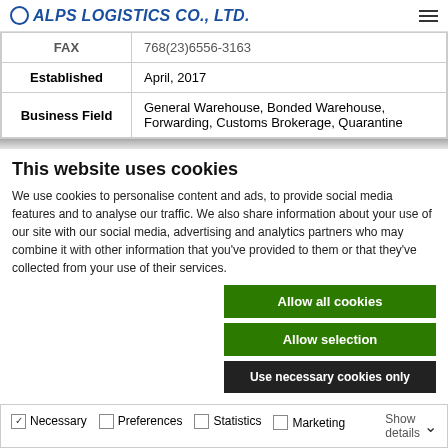ALPS LOGISTICS CO., LTD.
| Field | Value |
| --- | --- |
| FAX | 768(23)6556-3163 |
| Established | April, 2017 |
| Business Field | General Warehouse, Bonded Warehouse, Forwarding, Customs Brokerage, Quarantine |
This website uses cookies
We use cookies to personalise content and ads, to provide social media features and to analyse our traffic. We also share information about your use of our site with our social media, advertising and analytics partners who may combine it with other information that you've provided to them or that they've collected from your use of their services.
Allow all cookies
Allow selection
Use necessary cookies only
Necessary  Preferences  Statistics  Marketing  Show details